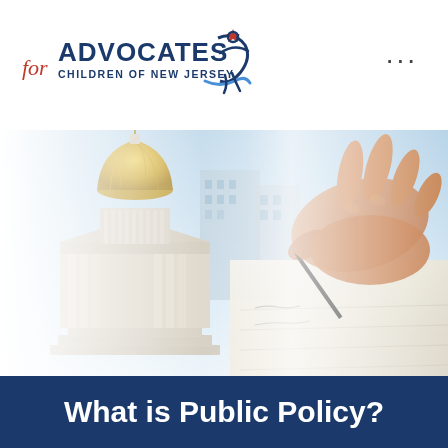[Figure (logo): Advocates for Children of New Jersey logo with stylized figure and text]
[Figure (photo): Composite image of NJ State Capitol building with gold dome on the left and a hand writing with a pen on the right, fading together in the center]
What is Public Policy?